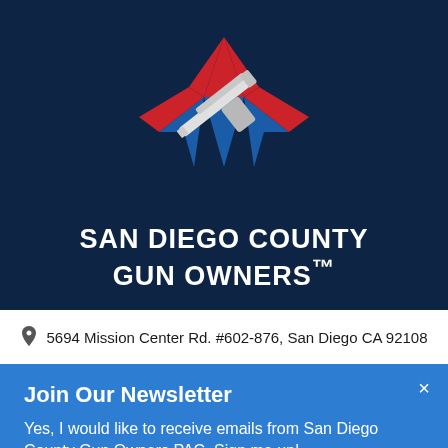[Figure (logo): San Diego County Gun Owners logo: a star with red top points and blue bottom points, overlaid with a white/silver handgun image]
SAN DIEGO COUNTY GUN OWNERS™
5694 Mission Center Rd. #602-876, San Diego CA 92108
Join Our Newsletter
Yes, I would like to receive emails from San Diego County Gun Owners PAC. Sign me up!
Subscribe